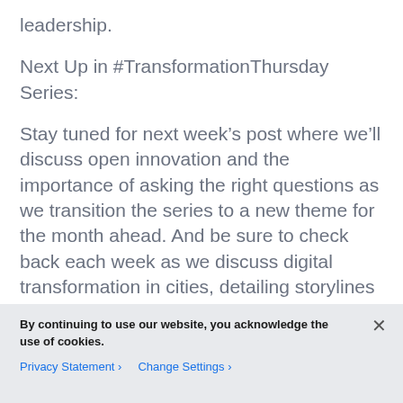leadership.
Next Up in #TransformationThursday Series:
Stay tuned for next week’s post where we’ll discuss open innovation and the importance of asking the right questions as we transition the series to a new theme for the month ahead. And be sure to check back each week as we discuss digital transformation in cities, detailing storylines and examples with various social, environmental and economic outcomes.
We’d also love for you to be a part of the
By continuing to use our website, you acknowledge the use of cookies.
Privacy Statement ›   Change Settings ›